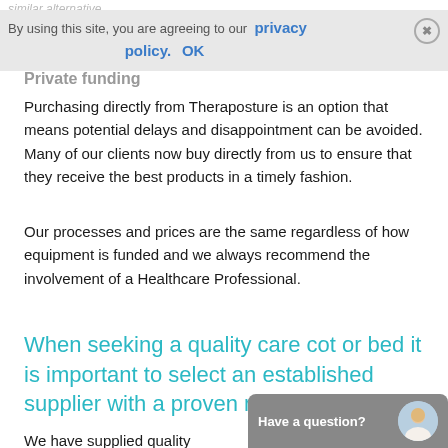similar alternative.
By using this site, you are agreeing to our privacy policy.  OK
Private funding
Purchasing directly from Theraposture is an option that means potential delays and disappointment can be avoided. Many of our clients now buy directly from us to ensure that they receive the best products in a timely fashion.
Our processes and prices are the same regardless of how equipment is funded and we always recommend the involvement of a Healthcare Professional.
When seeking a quality care cot or bed it is important to select an established supplier with a proven reputation.
We have supplied quality solutions since 1921 and have ca provide expert advice through decades of experience. Below is